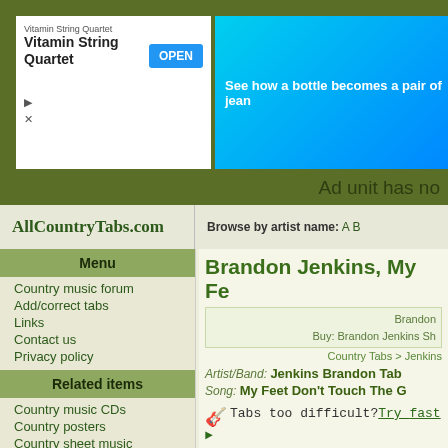[Figure (screenshot): Advertisement banner with Vitamin String Quartet app ad (white box with OPEN button) and blue banner ad saying 'See how a bottle becomes a pair of jean']
Ad unit has no
AllCountryTabs.com   Browse by artist name: A B
Menu
Country music forum
Add/correct tabs
Links
Contact us
Privacy policy
Related items
Country music CDs
Country posters
Country sheet music
Brandon Jenkins, My Fe
Brandon Jenkins Sh...
Country Tabs > Jenkins
Artist/Band: Jenkins Brandon Tab
Song: My Feet Don't Touch The G
Tabs too difficult? Try_ fast ►